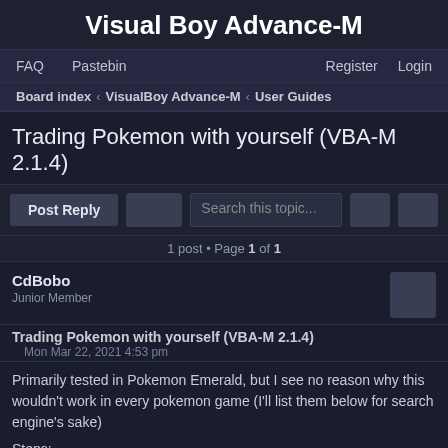Visual Boy Advance-M
FAQ  Pastebin  Register  Login
Board index › VisualBoy Advance-M › User Guides
Trading Pokemon with yourself (VBA-M 2.1.4)
Post Reply  Search this topic...  1 post • Page 1 of 1
CdBobo
Junior Member
Trading Pokemon with yourself (VBA-M 2.1.4)
Mon Mar 22, 2021 4:53 pm
Primarily tested in Pokemon Emerald, but I see no reason why this wouldn't work in every pokemon game (I'll list them below for search engine's sake)
Steps:
Optional step #0: Copy your save game file and put it somewhere safe just in case. I had no issues, but I'm a bit paranoid so I did this XD